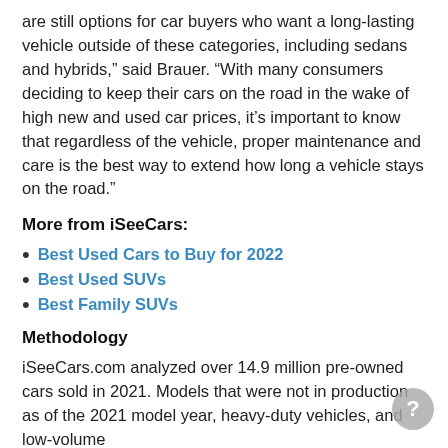are still options for car buyers who want a long-lasting vehicle outside of these categories, including sedans and hybrids,” said Brauer. “With many consumers deciding to keep their cars on the road in the wake of high new and used car prices, it’s important to know that regardless of the vehicle, proper maintenance and care is the best way to extend how long a vehicle stays on the road.”
More from iSeeCars:
Best Used Cars to Buy for 2022
Best Used SUVs
Best Family SUVs
Methodology
iSeeCars.com analyzed over 14.9 million pre-owned cars sold in 2021. Models that were not in production as of the 2021 model year, heavy-duty vehicles, and low-volume